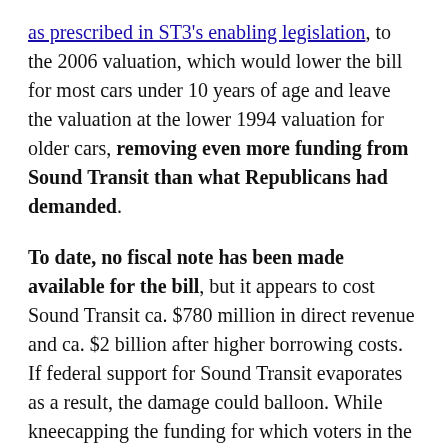as prescribed in ST3's enabling legislation, to the 2006 valuation, which would lower the bill for most cars under 10 years of age and leave the valuation at the lower 1994 valuation for older cars, removing even more funding from Sound Transit than what Republicans had demanded.
To date, no fiscal note has been made available for the bill, but it appears to cost Sound Transit ca. $780 million in direct revenue and ca. $2 billion after higher borrowing costs. If federal support for Sound Transit evaporates as a result, the damage could balloon. While kneecapping the funding for which voters in the ST3 district just voted to tax themselves for, the state legislature has shown no interest in providing direct state funding of Sound Transit.